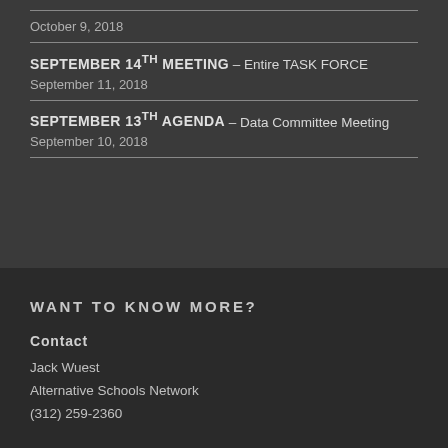October 9, 2018
SEPTEMBER 14th MEETING – Entire TASK FORCE
September 11, 2018
SEPTEMBER 13th AGENDA – Data Committee Meeting
September 10, 2018
WANT TO KNOW MORE?
Contact
Jack Wuest
Alternative Schools Network
(312) 259-2360